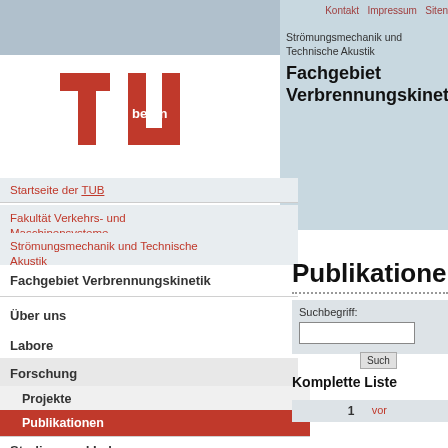[Figure (logo): TU Berlin logo — red stylized letters TU with 'berlin' text, university logo]
Startseite der TUB
Fakultät Verkehrs- und Maschinensysteme
Strömungsmechanik und Technische Akustik
Kontakt   Impressum   Siten
Strömungsmechanik und Technische Akustik
Fachgebiet Verbrennungskinetik
Fachgebiet Verbrennungskinetik
Über uns
Labore
Forschung
Projekte
Publikationen
Studium und Lehre
Publikationen
Suchbegriff:
Komplette Liste
1   vor